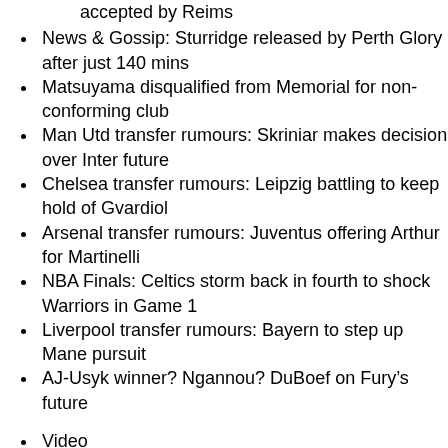accepted by Reims
News & Gossip: Sturridge released by Perth Glory after just 140 mins
Matsuyama disqualified from Memorial for non-conforming club
Man Utd transfer rumours: Skriniar makes decision over Inter future
Chelsea transfer rumours: Leipzig battling to keep hold of Gvardiol
Arsenal transfer rumours: Juventus offering Arthur for Martinelli
NBA Finals: Celtics storm back in fourth to shock Warriors in Game 1
Liverpool transfer rumours: Bayern to step up Mane pursuit
AJ-Usyk winner? Ngannou? DuBoef on Fury’s future
Video
Latest News